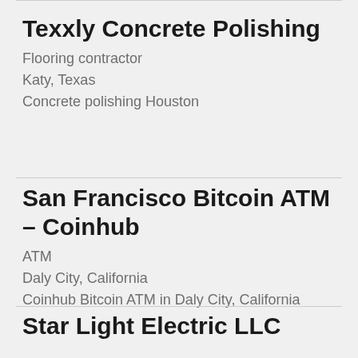Texxly Concrete Polishing
Flooring contractor
Katy, Texas
Concrete polishing Houston
San Francisco Bitcoin ATM – Coinhub
ATM
Daly City, California
Coinhub Bitcoin ATM in Daly City, California
Star Light Electric LLC